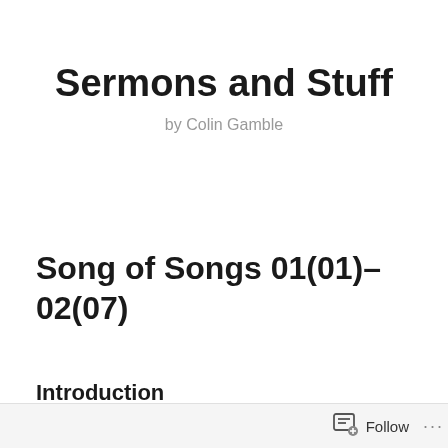Sermons and Stuff
by Colin Gamble
Song of Songs 01(01)–02(07)
Introduction
Follow ...